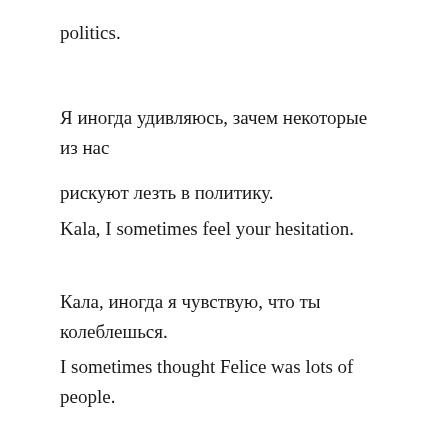politics.
Я иногда удивляюсь, зачем некоторые из нас рискуют лезть в политику.
Kala, I sometimes feel your hesitation.
Кала, иногда я чувствую, что ты колеблешься.
I sometimes thought Felice was lots of people.
Иногда я думала, что в ней живёт несколько человек.
I sometimes think Irena haunts this house.
Иногда мне кажется, что Ирэна поселилась в этом